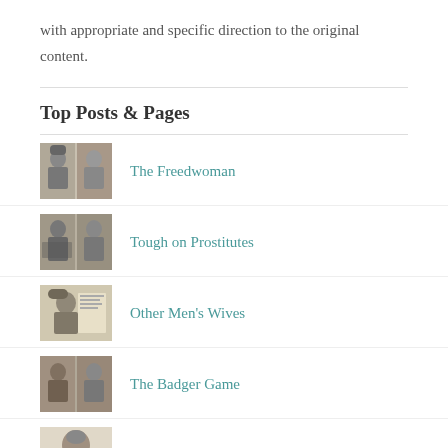with appropriate and specific direction to the original content.
Top Posts & Pages
The Freedwoman
Tough on Prostitutes
Other Men's Wives
The Badger Game
Baby For Sale